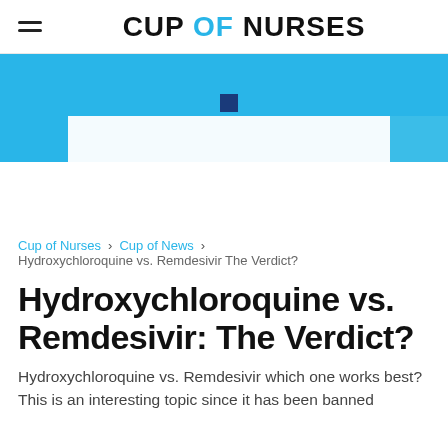CUP OF NURSES
[Figure (illustration): Light blue hero banner with a small dark blue square icon centered near top and a white horizontal bar overlapping the lower portion of the banner, with a blue box at the far right.]
Cup of Nurses  >  Cup of News  >  Hydroxychloroquine vs. Remdesivir The Verdict?
Hydroxychloroquine vs. Remdesivir: The Verdict?
Hydroxychloroquine vs. Remdesivir which one works best? This is an interesting topic since it has been banned